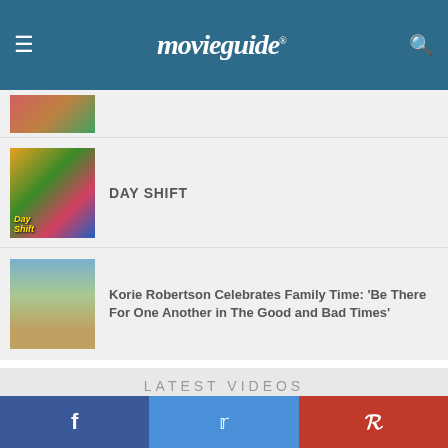movieguide®
[Figure (photo): Partial thumbnail of an article at top of list]
DAY SHIFT
[Figure (photo): Day Shift movie poster thumbnail - colorful group of people]
Korie Robertson Celebrates Family Time: 'Be There For One Another in The Good and Bad Times'
[Figure (photo): Korie Robertson family group outdoor photo thumbnail]
LATEST VIDEOS
Gigi & Nate Will Warm Your Heart
[Figure (photo): Movie review thumbnail for Gigi & Nate]